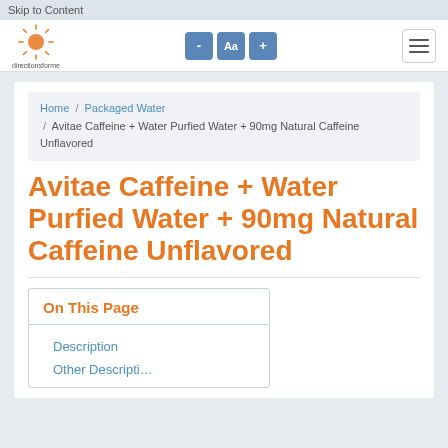Skip to Content
[Figure (logo): directionsforme logo with sun icon]
- Aa +
Navigation menu (hamburger icon)
Home / Packaged Water / Avitae Caffeine + Water Purfied Water + 90mg Natural Caffeine Unflavored
Avitae Caffeine + Water Purfied Water + 90mg Natural Caffeine Unflavored
On This Page
Description
Other Descriptions